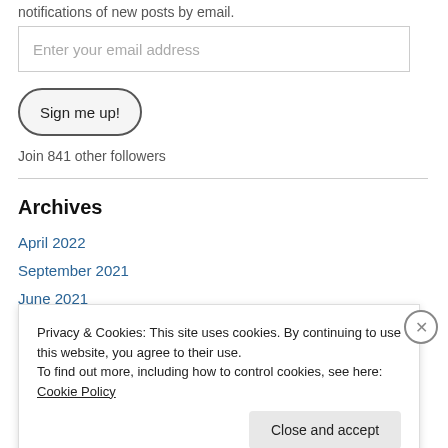notifications of new posts by email.
Enter your email address
Sign me up!
Join 841 other followers
Archives
April 2022
September 2021
June 2021
Privacy & Cookies: This site uses cookies. By continuing to use this website, you agree to their use. To find out more, including how to control cookies, see here: Cookie Policy
Close and accept